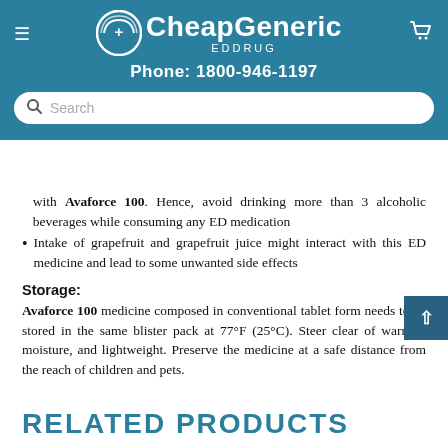CheapGeneric EDDRUG — Phone: 1800-946-1197
with Avaforce 100. Hence, avoid drinking more than 3 alcoholic beverages while consuming any ED medication
Intake of grapefruit and grapefruit juice might interact with this ED medicine and lead to some unwanted side effects
Storage:
Avaforce 100 medicine composed in conventional tablet form needs to be stored in the same blister pack at 77°F (25°C). Steer clear of warmth, moisture, and lightweight. Preserve the medicine at a safe distance from the reach of children and pets.
RELATED PRODUCTS